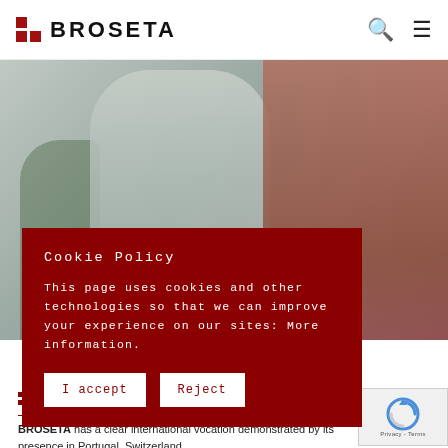BROSETA
[Figure (photo): Two professional women, one in a grey wrap dress holding a folder/tablet, one in a rust/terracotta suit, standing outdoors with plants in background]
Cookie Policy

This page uses cookies and other technologies so that we can improve your experience on our sites: More information.

I accept    Reject
International
BROSETA has a clear international vocation demonstrated by its presence in Portugal, Switzerland